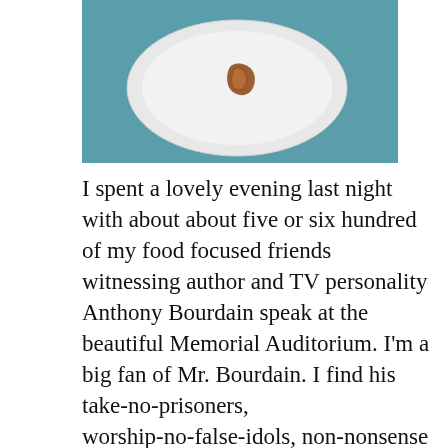[Figure (photo): A white plate on a teal/blue surface with a small piece of food (bacon or similar) placed on it.]
I spent a lovely evening last night with about about five or six hundred of my food focused friends witnessing author and TV personality Anthony Bourdain speak at the beautiful Memorial Auditorium. I'm a big fan of Mr. Bourdain. I find his take-no-prisoners, worship-no-false-idols, non-nonsense approach to food and travel refreshing and invigorating. He was a brash, funny speaker, tearing into the low-hanging fruit of Food Network personalities like Guy Fieri and Sandra Lee, while fully admitting that he was wrong to rip on folks like Rachel Ray and Emeril because, after real-world interactions with them, he